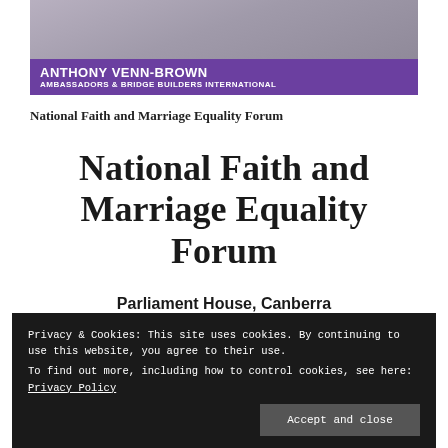[Figure (photo): A screenshot of a video or webpage showing a person with a purple banner overlay reading 'ANTHONY VENN-BROWN / AMBASSADORS & BRIDGE BUILDERS INTERNATIONAL']
National Faith and Marriage Equality Forum
National Faith and Marriage Equality Forum
Parliament House, Canberra
Privacy & Cookies: This site uses cookies. By continuing to use this website, you agree to their use.
To find out more, including how to control cookies, see here: Privacy Policy
Accept and close